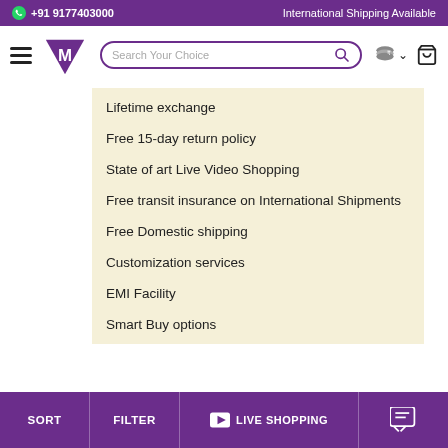+91 9177403000 | International Shipping Available
[Figure (screenshot): Navigation bar with hamburger menu, purple V logo, search box, currency selector, and cart icon]
Lifetime exchange
Free 15-day return policy
State of art Live Video Shopping
Free transit insurance on International Shipments
Free Domestic shipping
Customization services
EMI Facility
Smart Buy options
SORT | FILTER | LIVE SHOPPING | [chat icon]